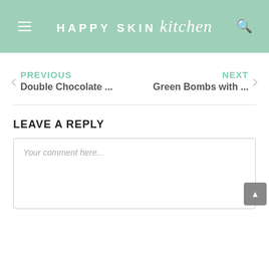HAPPY SKIN kitchen
PREVIOUS Double Chocolate ... | NEXT Green Bombs with ...
LEAVE A REPLY
Your comment here...